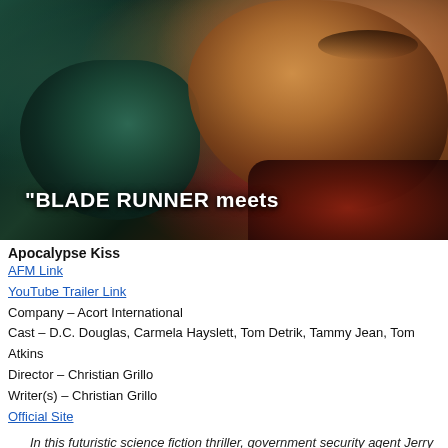[Figure (photo): Movie still/promotional image for 'Apocalypse Kiss' showing two faces close together in dark cinematic lighting with a text overlay reading "BLADE RUNNER meets"]
Apocalypse Kiss
AFM Link
YouTube Trailer Link
Company – Acort International
Cast – D.C. Douglas, Carmela Hayslett, Tom Detrik, Tammy Jean, Tom Atkins
Director – Christian Grillo
Writer(s) – Christian Grillo
Official Site
In this futuristic science fiction thriller, government security agent Jerry Hippie h... city's most infamous criminal — The Red Harvest Killer. When two nomadic lo... the death count rises and are being credited as Red Harvest killings. Obsessiv... Harvest Killer, becomes furious that the sexy serial killing duo are grabbing me...